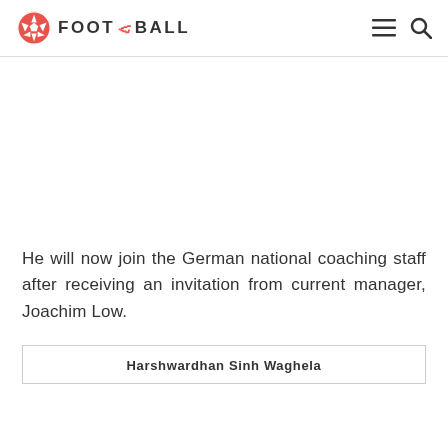FOOT THE BALL
He will now join the German national coaching staff after receiving an invitation from current manager, Joachim Low.
Harshwardhan Sinh Waghela